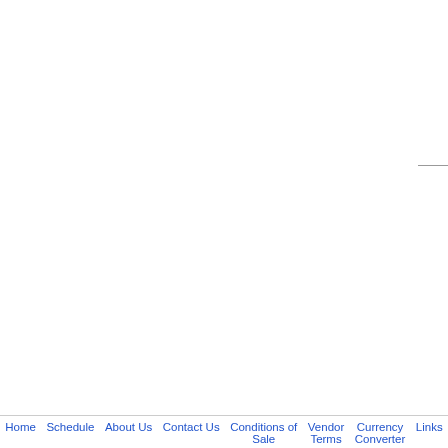har
mu
D14
£30
Click here to go
[ Previous Cat
Keyword
Search of
Lot
Descriptions
Home  Schedule  About Us  Contact Us  Conditions of Sale  Vendor Terms  Currency Converter  Links